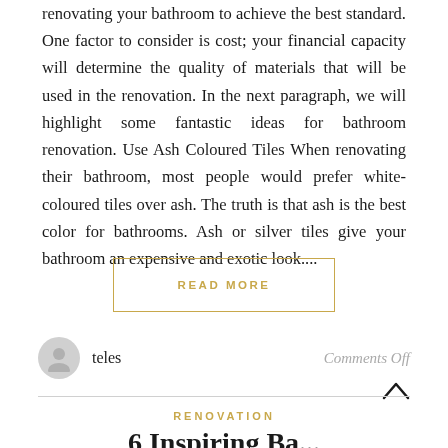renovating your bathroom to achieve the best standard. One factor to consider is cost; your financial capacity will determine the quality of materials that will be used in the renovation. In the next paragraph, we will highlight some fantastic ideas for bathroom renovation. Use Ash Coloured Tiles When renovating their bathroom, most people would prefer white-coloured tiles over ash. The truth is that ash is the best color for bathrooms. Ash or silver tiles give your bathroom an expensive and exotic look....
READ MORE
teles
Comments Off
RENOVATION